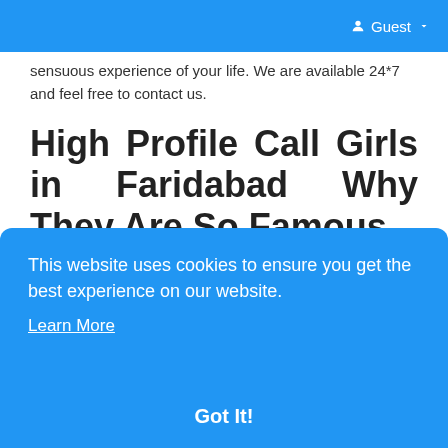Guest
sensuous experience of your life. We are available 24*7 and feel free to contact us.
High Profile Call Girls in Faridabad Why They Are So Famous
If your life has stopped enjoying, do no longer panic friend call girls in faridabad are sitting right here to ... escort ... will ... e to ... bad ... the ... their ... and ... might make your lifestyles higher if you stay life with
This website uses cookies to ensure you get the best experience on our website. Learn More Got It!